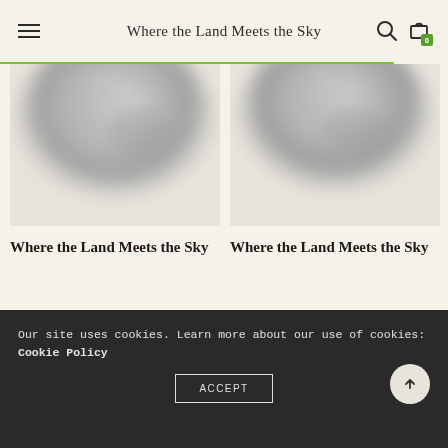Where the Land Meets the Sky
[Figure (photo): Blurred abstract globe/sphere image in grayscale, first product]
Where the Land Meets the Sky
[Figure (photo): Blurred abstract globe/sphere image in grayscale, second product]
Where the Land Meets the Sky
Our site uses cookies. Learn more about our use of cookies: Cookie Policy
ACCEPT